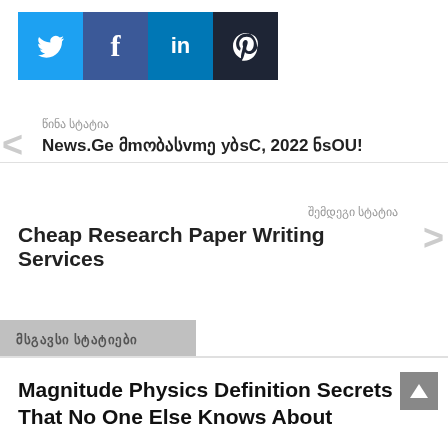[Figure (other): Social media share buttons: Twitter (blue), Facebook (dark blue), LinkedIn (medium blue), Pinterest (dark)]
წინა სტატია
News.Ge მთოასვmე yბsc, 2022 ნsou!
შემდეგი სტატია
Cheap Research Paper Writing Services
მსგავსი სტატიები
Magnitude Physics Definition Secrets That No One Else Knows About